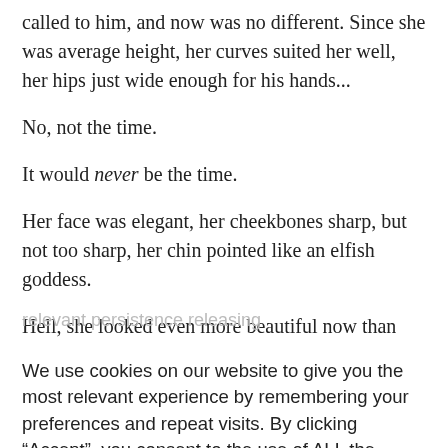called to him, and now was no different. Since she was average height, her curves suited her well, her hips just wide enough for his hands...
No, not the time.
It would never be the time.
Her face was elegant, her cheekbones sharp, but not too sharp, her chin pointed like an elfish goddess.
Hell, she looked even more beautiful now than she had eight years ago
We use cookies on our website to give you the most relevant experience by remembering your preferences and repeat visits. By clicking “Accept”, you consent to the use of ALL the cookies. However you may visit Cookie Settings to provide a controlled consent.
Cookie settings
ACCEPT
despite the emotions running through him.
“Jackson,” she said, her smile making her whole face brighten.